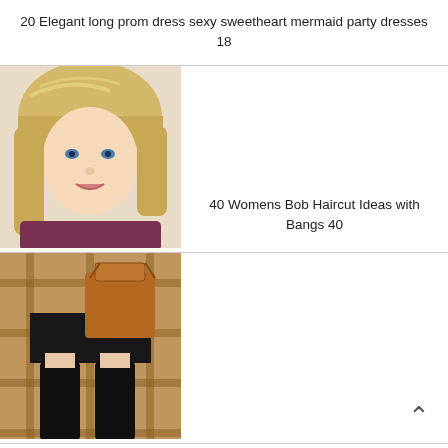20 Elegant long prom dress sexy sweetheart mermaid party dresses 18
[Figure (photo): Woman with short blonde bob haircut]
40 Womens Bob Haircut Ideas with Bangs 40
[Figure (photo): Woman in fashionable fall outfit with brown handbag, black mini skirt, plaid coat, and thigh-high black boots]
45 Fashionable Fall Outfits This Year 24 1